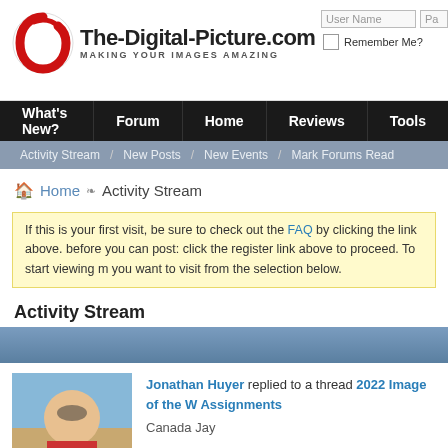The-Digital-Picture.com MAKING YOUR IMAGES AMAZING
User Name | Password | Remember Me?
What's New? | Forum | Home | Reviews | Tools
Activity Stream | New Posts | New Events | Mark Forums Read
Home > Activity Stream
If this is your first visit, be sure to check out the FAQ by clicking the link above. before you can post: click the register link above to proceed. To start viewing m you want to visit from the selection below.
Activity Stream
Jonathan Huyer replied to a thread 2022 Image of the W Assignments
Canada Jay
▶ see more
4 replies | 100 view(s)
Fast Glass replied to a thread Canon R3 in Canon Digita Cameras